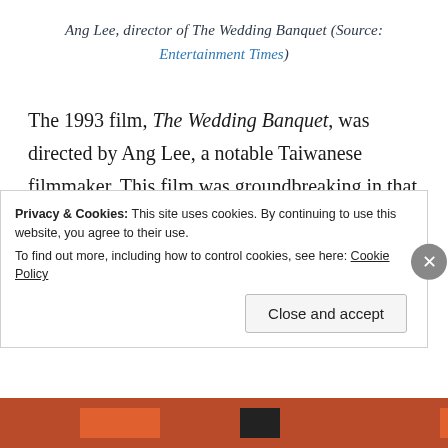Ang Lee, director of The Wedding Banquet (Source: Entertainment Times)
The 1993 film, The Wedding Banquet, was directed by Ang Lee, a notable Taiwanese filmmaker. This film was groundbreaking in that it featured an Asian homosexual lead, an intersection of identities not usually displayed on the big screen. The protagonist, Wai-Tung, lives an
Privacy & Cookies: This site uses cookies. By continuing to use this website, you agree to their use.
To find out more, including how to control cookies, see here: Cookie Policy
Close and accept